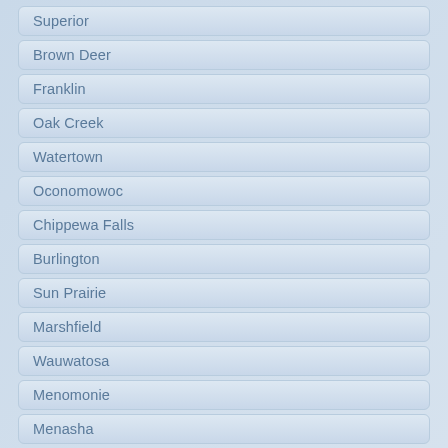Superior
Brown Deer
Franklin
Oak Creek
Watertown
Oconomowoc
Chippewa Falls
Burlington
Sun Prairie
Marshfield
Wauwatosa
Menomonie
Menasha